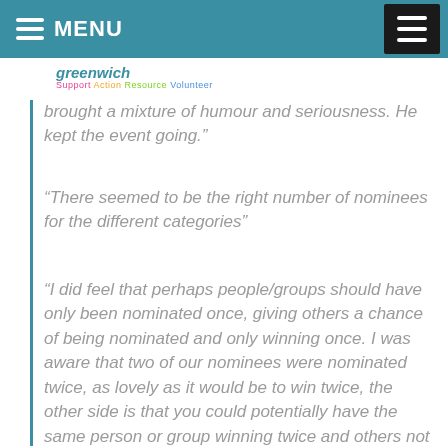MENU
brought a mixture of humour and seriousness. He kept the event going.”
“There seemed to be the right number of nominees for the different categories”
“I did feel that perhaps people/groups should have only been nominated once, giving others a chance of being nominated and only winning once. I was aware that two of our nominees were nominated twice, as lovely as it would be to win twice, the other side is that you could potentially have the same person or group winning twice and others not winning at all.”